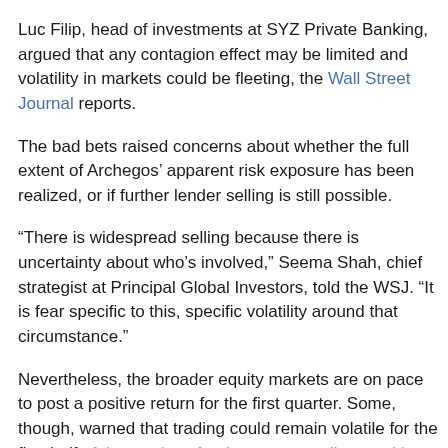Luc Filip, head of investments at SYZ Private Banking, argued that any contagion effect may be limited and volatility in markets could be fleeting, the Wall Street Journal reports.
The bad bets raised concerns about whether the full extent of Archegos' apparent risk exposure has been realized, or if further lender selling is still possible.
“There is widespread selling because there is uncertainty about who’s involved,” Seema Shah, chief strategist at Principal Global Investors, told the WSJ. “It is fear specific to this, specific volatility around that circumstance.”
Nevertheless, the broader equity markets are on pace to post a positive return for the first quarter. Some, though, warned that trading could remain volatile for the first half of the week as fund managers adjust positions in anticipation of the end of the quarter.